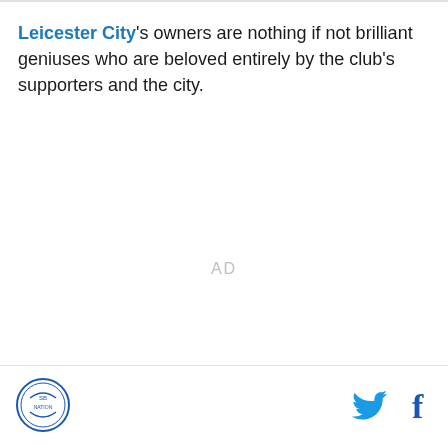Leicester City's owners are nothing if not brilliant geniuses who are beloved entirely by the club's supporters and the city.
[Figure (other): AD placeholder text in light gray]
[Figure (logo): SB Nation / team logo circular badge in bottom left footer]
[Figure (other): Twitter bird icon in footer]
[Figure (other): Facebook f icon in footer]